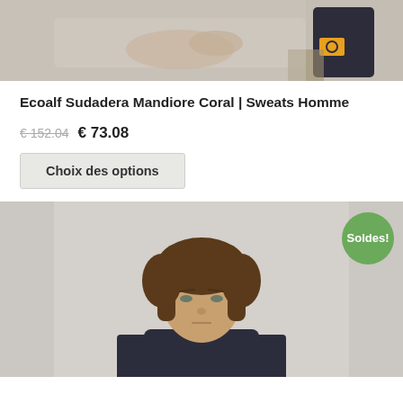[Figure (photo): Close-up photo of a person sitting on a couch wearing dark socks with an orange/yellow Ecoalf brand logo badge]
Ecoalf Sudadera Mandiore Coral | Sweats Homme
€ 152.04 € 73.08
Choix des options
[Figure (photo): Photo of a young man with medium-length brown hair wearing a dark navy t-shirt against a light grey background, with a green 'Soldes!' badge in the top right corner]